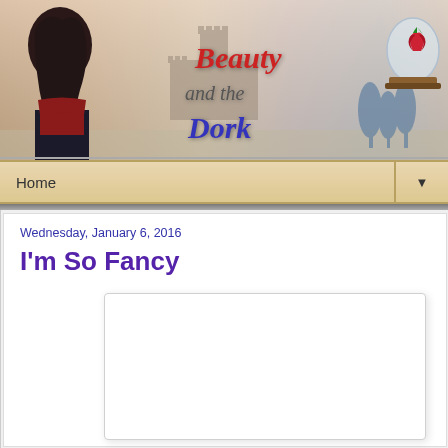[Figure (illustration): Blog header banner showing 'Beauty and the Dork' with a stylized female character on the left, castle silhouette in background, decorative script title text in red and blue, and a rose under glass dome on the right]
Home ▼
Wednesday, January 6, 2016
I'm So Fancy
[Figure (photo): Blog post image placeholder, large white rectangle with light border and shadow]